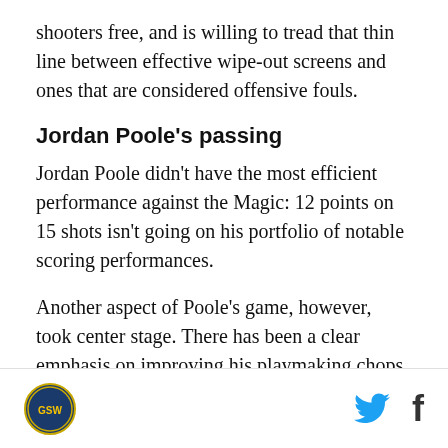shooters free, and is willing to tread that thin line between effective wipe-out screens and ones that are considered offensive fouls.
Jordan Poole's passing
Jordan Poole didn't have the most efficient performance against the Magic: 12 points on 15 shots isn't going on his portfolio of notable scoring performances.
Another aspect of Poole's game, however, took center stage. There has been a clear emphasis on improving his playmaking chops, a part of his overall attempt at slowing things down and trying to obtain a clear picture of his surroundings.
Logo | Twitter | Facebook